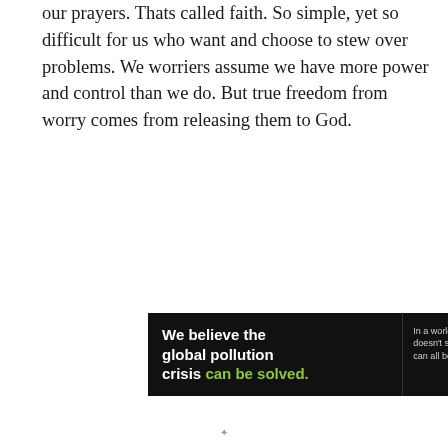our prayers. Thats called faith. So simple, yet so difficult for us who want and choose to stew over problems. We worriers assume we have more power and control than we do. But true freedom from worry comes from releasing them to God.
[Figure (infographic): Pure Earth advertisement banner. Left black section: 'We believe the global pollution crisis can be solved.' (can be solved in green). Middle black section: 'In a world where pollution doesn't stop at borders, we can all be part of the solution. JOIN US.' (JOIN US in yellow). Right white section: Pure Earth logo with diamond/chevron icon in orange/yellow/green and text PURE EARTH in bold.]